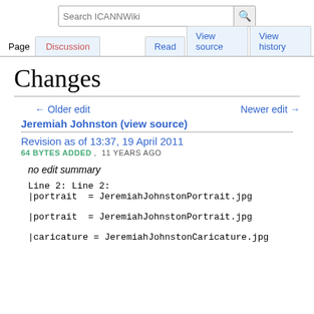Search ICANNWiki | Page | Discussion | Read | View source | View history
Changes
← Older edit
Newer edit →
Jeremiah Johnston (view source)
Revision as of 13:37, 19 April 2011
64 BYTES ADDED ,  11 YEARS AGO
no edit summary
Line 2: Line 2:
|portrait  = JeremiahJohnstonPortrait.jpg

|portrait  = JeremiahJohnstonPortrait.jpg

|caricature = JeremiahJohnstonCaricature.jpg